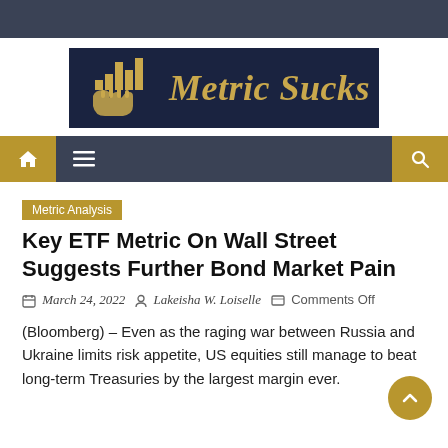[Figure (logo): Metric Sucks logo — dark navy background with gold bar chart and hand icon on the left, gold italic bold text 'Metric Sucks' on the right]
[Figure (screenshot): Navigation bar with gold home icon button, hamburger menu icon, and gold search icon button on dark grey background]
Metric Analysis
Key ETF Metric On Wall Street Suggests Further Bond Market Pain
March 24, 2022   Lakeisha W. Loiselle   Comments Off
(Bloomberg) – Even as the raging war between Russia and Ukraine limits risk appetite, US equities still manage to beat long-term Treasuries by the largest margin ever.